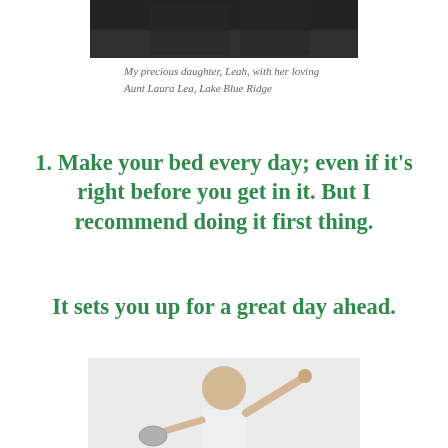[Figure (photo): Top portion of a photo showing two people at Lake Blue Ridge, partially cropped]
My precious daughter, Leah, with her loving Aunt Laura Lea, Lake Blue Ridge
1. Make your bed every day; even if it's right before you get in it. But I recommend doing it first thing.
It sets you up for a great day ahead.
[Figure (photo): Woman in white tank top stretching/yawning with arms raised, holding a kettle bell, on a white background]